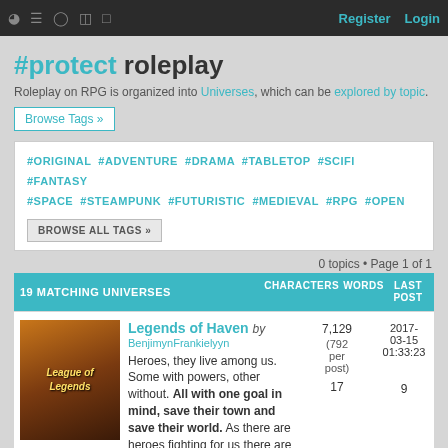Register  Login
#protect roleplay
Roleplay on RPG is organized into Universes, which can be explored by topic.
Browse Tags »
#ORIGINAL #ADVENTURE #DRAMA #TABLETOP #SCIFI #FANTASY #SPACE #STEAMPUNK #FUTURISTIC #MEDIEVAL #RPG #OPEN
BROWSE ALL TAGS »
0 topics • Page 1 of 1
19 MATCHING UNIVERSES  CHARACTERS  WORDS  LAST POST
Legends of Haven by BenjimynFrankielyyn
Heroes, they live among us. Some with powers, other without. All with one goal in mind, save their town and save their world. As there are heroes fighting for us there are those who are set on the destruction of all we hold dear.
7,129 (792 per post)
2017-03-15 01:33:23
17
9